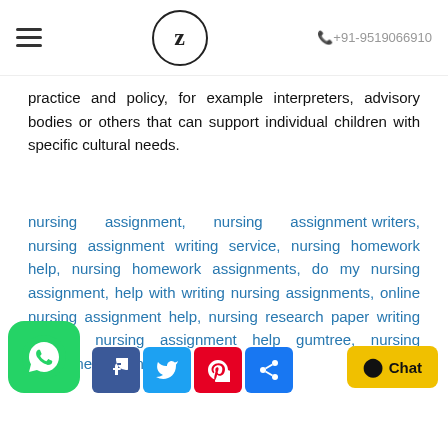≡  Z  +91-9519066910
practice and policy, for example interpreters, advisory bodies or others that can support individual children with specific cultural needs.
nursing assignment, nursing assignment writers, nursing assignment writing service, nursing homework help, nursing homework assignments, do my nursing assignment, help with writing nursing assignments, online nursing assignment help, nursing research paper writing service, nursing assignment help gumtree, nursing assignment writing help
[Figure (logo): WhatsApp green rounded square button with white phone handset icon]
[Figure (logo): Social media share icons row: Facebook, Twitter, Pinterest, Share]
[Figure (other): Yellow chat button with chat bubble icon and text 'Chat']